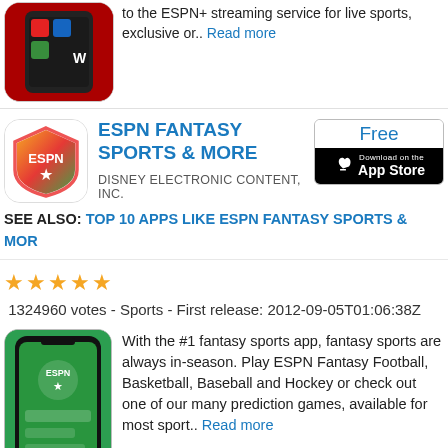to the ESPN+ streaming service for live sports, exclusive or.. Read more
[Figure (screenshot): ESPN+ app icon on smartphone screen with red background and app icons visible]
ESPN FANTASY SPORTS & MORE
DISNEY ELECTRONIC CONTENT, INC.
[Figure (screenshot): App Store download button showing Free label and Download on the App Store badge]
SEE ALSO: TOP 10 APPS LIKE ESPN FANTASY SPORTS & MOR
★★★★★  1324960 votes - Sports - First release: 2012-09-05T01:06:38Z
[Figure (screenshot): ESPN Fantasy Sports app screenshot on a smartphone with green background]
With the #1 fantasy sports app, fantasy sports are always in-season. Play ESPN Fantasy Football, Basketball, Baseball and Hockey or check out one of our many prediction games, available for most sport.. Read more